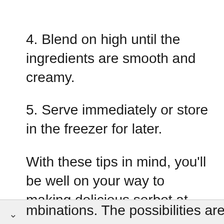4. Blend on high until the ingredients are smooth and creamy.
5. Serve immediately or store in the freezer for later.
With these tips in mind, you'll be well on your way to making delicious sorbet at home! Just remember to have fun and experiment with different flavor combinations. The possibilities are